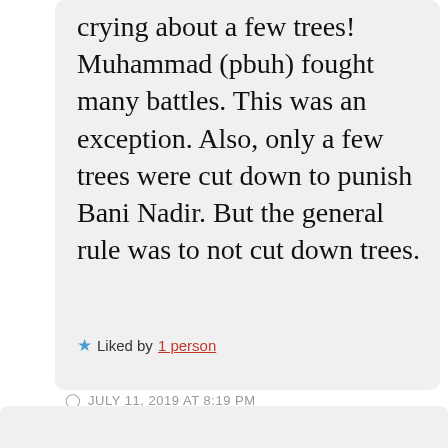crying about a few trees! Muhammad (pbuh) fought many battles. This was an exception. Also, only a few trees were cut down to punish Bani Nadir. But the general rule was to not cut down trees.
★ Liked by 1 person
JULY 11, 2019 AT 8:19 PM